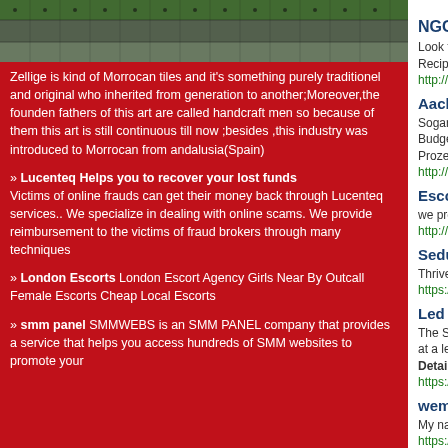[Figure (photo): Zellige Moroccan tiles pattern, decorative green and gray tile image]
Zellige is kind of Morrocan tiles and it's something purely traditionel and original who inherited from generation to another;Moreover,the founden fathers of this art are called handcraft men so because of them this art is still continuous till now ;besides ,this industry was introduced to Morrocan from andalusia(Spain)
» Lucenteq Helps you to recover your lost funds Victims of online frauds can get their money back through Lucenteq services.. We specialize in dealing with online scams. We provide reimbursement to the victims of fraud brokers through many techniques
» London Escorts London Escort Agency Girls Near By Outcall Female Escorts Cheap Local Escorts
» smm panel SMMWEBS is an SMM PANEL company that provides a service that helps you access hundreds of SMM websites to promote your
NGO Reviews
Look for Filipino recipes that can accommodate colorful s Recipes to Pattern at Lutong Bahay Web site. In the ever
http://sheliakellett9.wikidot.com/blog:1
Aachen Online Bewerbung Soziale Arbeit
Sogar Bitmex kann teuer werden, wenn Sie für eine reale Budget für Bitcoins. Die Umsätze von Bitcoins stellt expir Prozess virtualisiert wird. Listing Details
http://www.jjsapido.com/fotografia/modules.php?name=Y
Escorts Service in Gurgaon
we provide the best Gurgaon Escort all are genuine and
http://www.hotgurgaoncallgirls.com/
Seductive Exipure Ingredients
Thrive Internet Marketing Agency in short Thriveagency i
https://Cse.Google.tg/url?q=http%3A%2F%2Fkirovreg.ru
Led Bluetooth Shower Head: This is What Pr
The Storm. When pipes burst in your home during cold w at a level that's ideal for the shower head to let water thr Details
https://nanakicapital.com/what-you-need-to-own-a-succe
wem gehört die telefonnummer österreich
My name is Emilie Newman. I life in Hofstade (Belgium).
https://home.kartra.com/redirect_to/?asset=url&id=http://s
cavagnis costruzioni
I am Bettye from Castagnoli studying Dramatic Literature message=It%27s+very+easy+to+find+out+any+topic+on %3Ehttp%3A%2F%2Fbshow.free. Listing Details